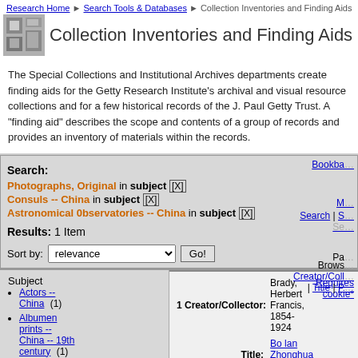Research Home > Search Tools & Databases > Collection Inventories and Finding Aids
Collection Inventories and Finding Aids
The Special Collections and Institutional Archives departments create finding aids for the Getty Research Institute's archival and visual resource collections and for a few historical records of the J. Paul Getty Trust. A "finding aid" describes the scope and contents of a group of records and provides an inventory of materials within the records.
Search: Photographs, Original in subject [X] Consuls -- China in subject [X] Astronomical 0bservatories -- China in subject [X] Results: 1 Item Sort by: relevance Go!
Subject
Actors -- China (1)
Albumen prints -- China -- 19th century (1)
1 Creator/Collector: Brady, Herbert Francis, 1854-1924 Title: Bo lan Zhonghua Requires cookie*